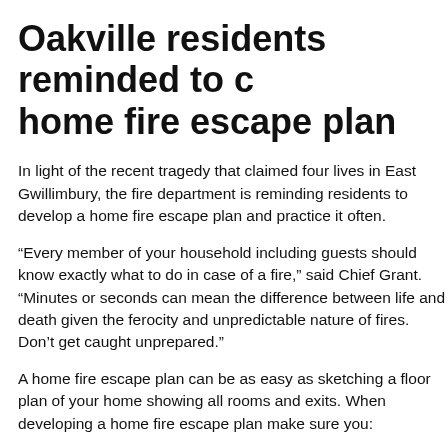Oakville residents reminded to create a home fire escape plan
In light of the recent tragedy that claimed four lives in East Gwillimbury, the fire department is reminding residents to develop a home fire escape plan and practice it often.
“Every member of your household including guests should know exactly what to do in case of a fire,” said Chief Grant. “Minutes or seconds can mean the difference between life and death given the ferocity and unpredictable nature of fires. Don’t get caught unprepared.”
A home fire escape plan can be as easy as sketching a floor plan of your home showing all rooms and exits. When developing a home fire escape plan make sure you:
Show two ways out of each room.
Check that all exits are unobstructed and easy to use.
Discuss how to get out from upper and lower levels.
Determine who will be responsible for helping young children, older adults or others who may need assistance.
Choose a meeting place outside, such as a tree or lamp post, where everyone will gather after escaping.